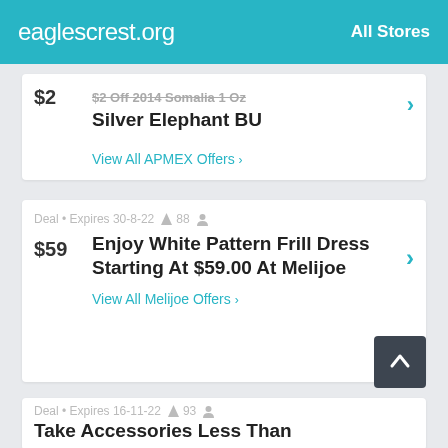eaglescrest.org   All Stores
$2
$2 Off 2014 Somalia 1 Oz Silver Elephant BU
View All APMEX Offers >
Deal • Expires 30-8-22  88
$59
Enjoy White Pattern Frill Dress Starting At $59.00 At Melijoe
View All Melijoe Offers >
Deal • Expires 16-11-22  93
Take Accessories Less Than